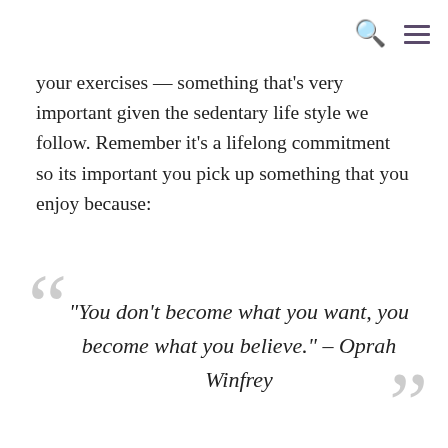[search icon] [menu icon]
your exercises — something that's very important given the sedentary life style we follow. Remember it's a lifelong commitment so its important you pick up something that you enjoy because:
“You don’t become what you want, you become what you believe.” – Oprah Winfrey